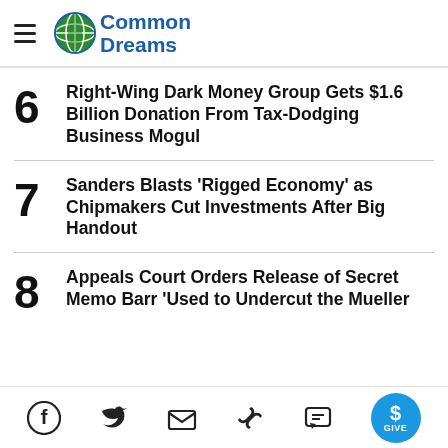Common Dreams
6 Right-Wing Dark Money Group Gets $1.6 Billion Donation From Tax-Dodging Business Mogul
7 Sanders Blasts 'Rigged Economy' as Chipmakers Cut Investments After Big Handout
8 Appeals Court Orders Release of Secret Memo Barr 'Used to Undercut the Mueller
Social share icons and GIVE button